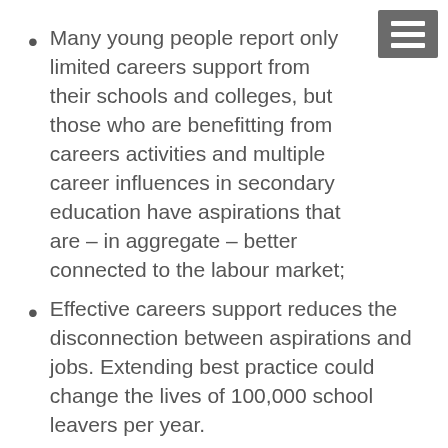Many young people report only limited careers support from their schools and colleges, but those who are benefitting from careers activities and multiple career influences in secondary education have aspirations that are – in aggregate – better connected to the labour market;
Effective careers support reduces the disconnection between aspirations and jobs. Extending best practice could change the lives of 100,000 school leavers per year.
Extending and improving careers activities in secondary schools and colleges alone could reduce the disconnect by up to a fifth.